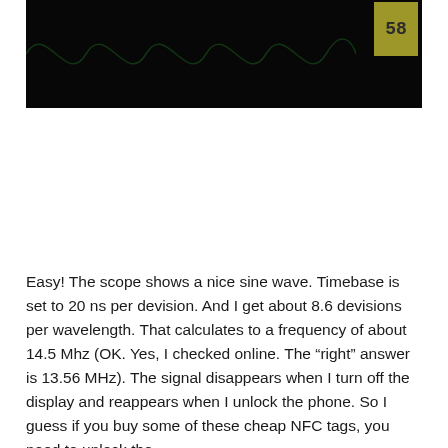[Figure (photo): Dark oscilloscope screen showing a sine wave signal. A bright yellowish display panel is visible in the upper right corner showing '58' or similar digits.]
Easy! The scope shows a nice sine wave. Timebase is set to 20 ns per devision. And I get about 8.6 devisions per wavelength. That calculates to a frequency of about 14.5 Mhz (OK. Yes, I checked online. The “right” answer is 13.56 MHz). The signal disappears when I turn off the display and reappears when I unlock the phone. So I guess if you buy some of these cheap NFC tags, you need to unlock the